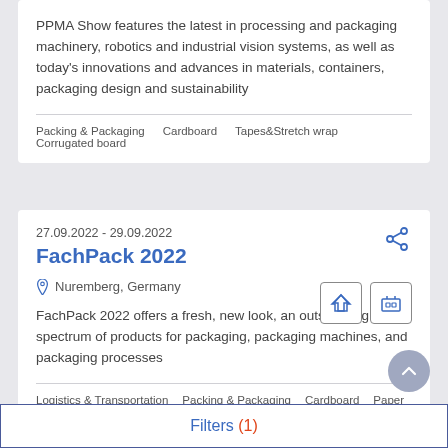PPMA Show features the latest in processing and packaging machinery, robotics and industrial vision systems, as well as today's innovations and advances in materials, containers, packaging design and sustainability
Packing & Packaging    Cardboard    Tapes&Stretch wrap    Corrugated board
27.09.2022 - 29.09.2022
FachPack 2022
Nuremberg, Germany
FachPack 2022 offers a fresh, new look, an outstanding spectrum of products for packaging, packaging machines, and packaging processes
Logistics & Transportation    Packing & Packaging    Cardboard    Paper    Tapes&Stretch wrap    Corrugated board    Polygraphy
Filters (1)